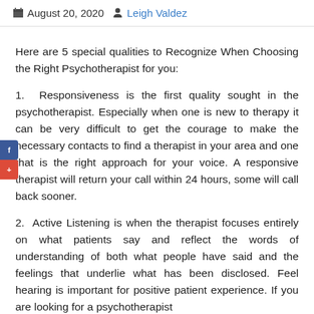August 20, 2020  Leigh Valdez
Here are 5 special qualities to Recognize When Choosing the Right Psychotherapist for you:
1. Responsiveness is the first quality sought in the psychotherapist. Especially when one is new to therapy it can be very difficult to get the courage to make the necessary contacts to find a therapist in your area and one that is the right approach for your voice. A responsive therapist will return your call within 24 hours, some will call back sooner.
2. Active Listening is when the therapist focuses entirely on what patients say and reflect the words of understanding of both what people have said and the feelings that underlie what has been disclosed. Feel hearing is important for positive patient experience. If you are looking for a psychotherapist